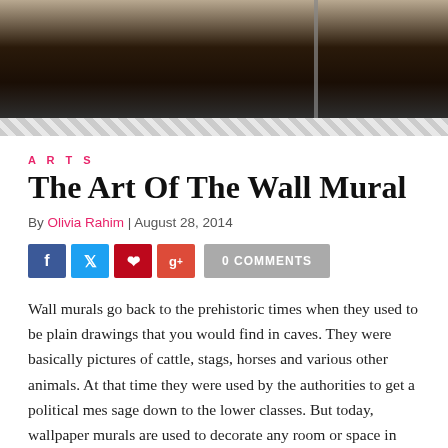[Figure (photo): Dark wood surface banner photo with a dark gradient; a vertical pole or rod visible on the right side]
ARTS
The Art Of The Wall Mural
By Olivia Rahim | August 28, 2014
[Figure (infographic): Social media sharing buttons: Facebook (blue), Twitter (light blue), Pinterest (red), Google+ (red-orange), and a gray '0 COMMENTS' button]
Wall murals go back to the prehistoric times when they used to be plain drawings that you would find in caves. They were basically pictures of cattle, stags, horses and various other animals. At that time they were used by the authorities to get a political mes sage down to the lower classes. But today, wallpaper murals are used to decorate any room or space in your home giving it a distinct atmosphere. Wall murals are basically